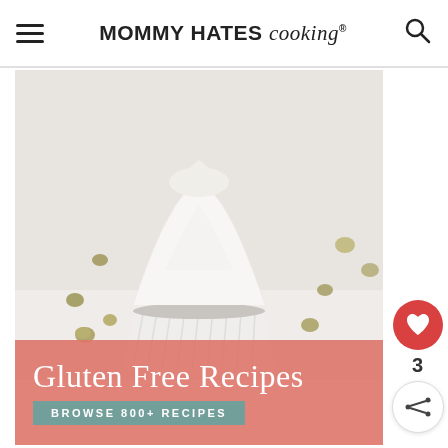MOMMY HATES cooking
[Figure (photo): Close-up photo of a cupcake with white cream frosting in a white fluted paper cup, surrounded by small round seeds/nuts on a white surface. Below the photo is a salmon/coral pink banner with text 'Gluten Free Recipes' in white serif font and a teal button reading 'BROWSE 800+ RECIPES'.]
3
CATEGORIES
WHAT'S NEXT → Simple Crockpot...
Select Category
School Snacks They'll Love
Wegmans